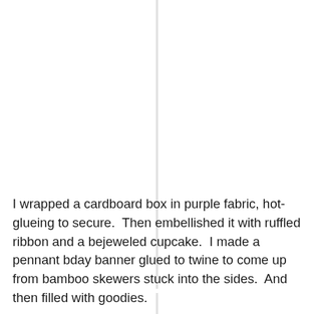I wrapped a cardboard box in purple fabric, hot-glueing to secure.  Then embellished it with ruffled ribbon and a bejeweled cupcake.  I made a pennant bday banner glued to twine to come up from bamboo skewers stuck into the sides.  And then filled with goodies.